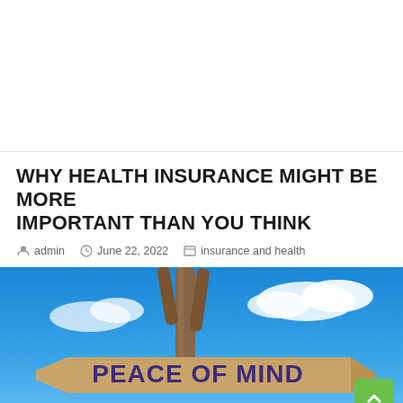WHY HEALTH INSURANCE MIGHT BE MORE IMPORTANT THAN YOU THINK
admin  June 22, 2022  insurance and health
[Figure (photo): A wooden directional sign reading 'PEACE OF MIND' against a bright blue sky with clouds, with a driftwood post.]